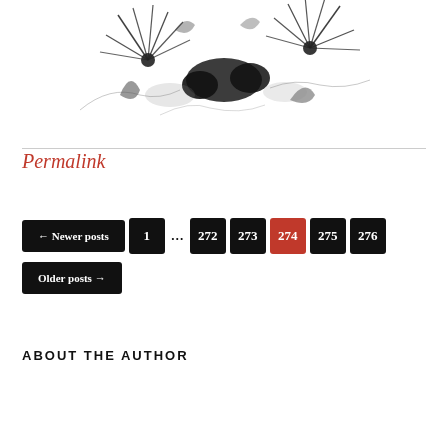[Figure (illustration): Black ink sketch illustration of flowers/dandelions with loose expressive marks on white background]
Permalink
← Newer posts 1 … 272 273 274 275 276 Older posts →
ABOUT THE AUTHOR